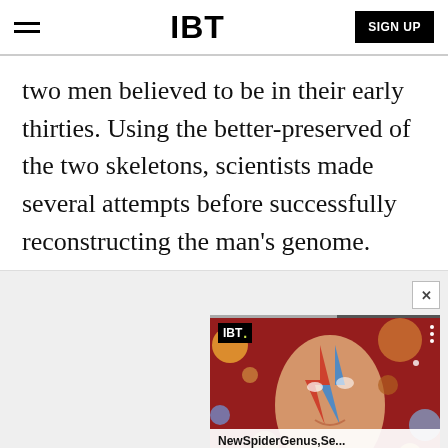IBT | SIGN UP
two men believed to be in their early thirties. Using the better-preserved of the two skeletons, scientists made several attempts before successfully reconstructing the man’s genome.
[Figure (screenshot): IBT video thumbnail showing a David Bowie-like face with colorful planets in background, with title bar 'NewSpiderGenus,Se...' and IBT badge. Advertisement label below.]